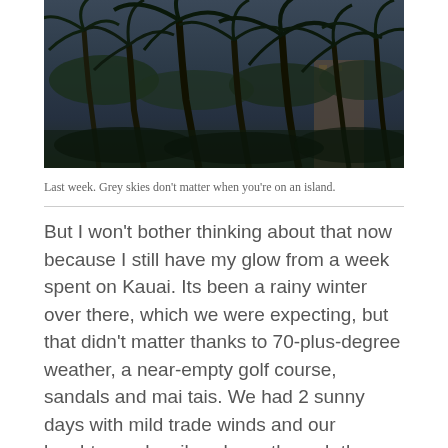[Figure (photo): Dark, moody photograph of tall palm trees swaying against a grey overcast sky, with buildings visible in the background, taken from a low angle looking up.]
Last week. Grey skies don't matter when you're on an island.
But I won't bother thinking about that now because I still have my glow from a week spent on Kauai. Its been a rainy winter over there, which we were expecting, but that didn't matter thanks to 70-plus-degree weather, a near-empty golf course, sandals and mai tais. We had 2 sunny days with mild trade winds and our laughter and smiles shone through the camera lens from Poipu Bay Golf course once again.